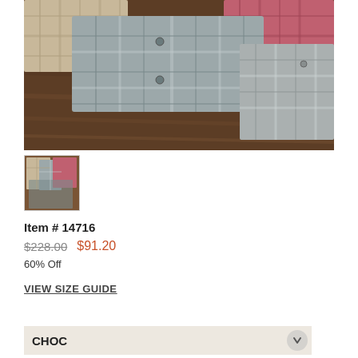[Figure (photo): Multiple folded plaid flannel shirts in gray, pink/red, and tan colors arranged on a dark wood surface. Main product photo.]
[Figure (photo): Small thumbnail image showing the same plaid shirts grouped together.]
Item # 14716
$228.00  $91.20
60% Off
VIEW SIZE GUIDE
CHOC